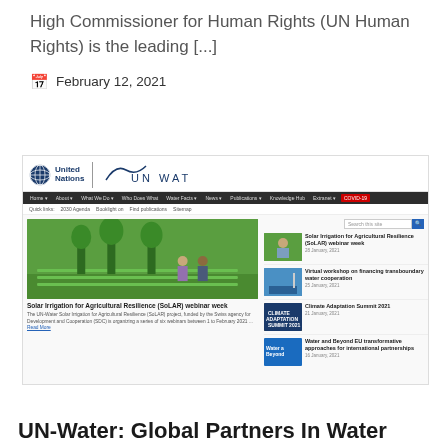High Commissioner for Human Rights (UN Human Rights) is the leading [...]
February 12, 2021
[Figure (screenshot): Screenshot of the UN-Water website homepage showing the United Nations / UN Water logo, navigation bar with Home, About, What We Do, Who Does What, Water Facts, News, Publications, Knowledge Hub, Extranet, COVID-19 links, quick links bar, a search box, a main article image of Solar Irrigation for Agricultural Resilience (SoLAR) webinar week with two people in a rice field, and a sidebar with four news thumbnails including Solar Irrigation for Agricultural Resilience (SoLAR) webinar week (28 January 2021), Virtual workshop on financing transboundary water cooperation (25 January 2021), Climate Adaptation Summit 2021 (21 January 2021), and Water and Beyond EU transformative approaches for international partnerships (16 January 2021).]
UN-Water: Global Partners In Water